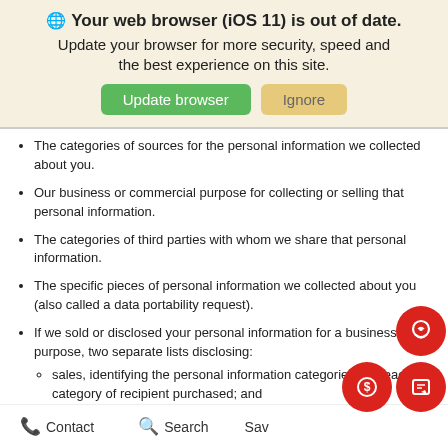🌐 Your web browser (iOS 11) is out of date. Update your browser for more security, speed and the best experience on this site.
The categories of sources for the personal information we collected about you.
Our business or commercial purpose for collecting or selling that personal information.
The categories of third parties with whom we share that personal information.
The specific pieces of personal information we collected about you (also called a data portability request).
If we sold or disclosed your personal information for a business purpose, two separate lists disclosing:
sales, identifying the personal information categ... that each category of recipient purchased; and
disclosures for a business purpose, identifying the
Contact   Search   Save